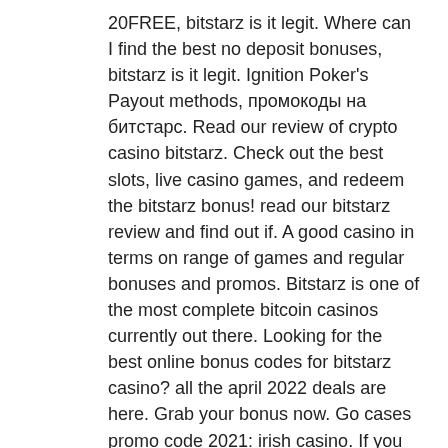20FREE, bitstarz is it legit. Where can I find the best no deposit bonuses, bitstarz is it legit. Ignition Poker's Payout methods, промокоды на битстарс. Read our review of crypto casino bitstarz. Check out the best slots, live casino games, and redeem the bitstarz bonus! read our bitstarz review and find out if. A good casino in terms on range of games and regular bonuses and promos. Bitstarz is one of the most complete bitcoin casinos currently out there. Looking for the best online bonus codes for bitstarz casino? all the april 2022 deals are here. Grab your bonus now. Go cases promo code 2021: irish casino. If you haven't experienced that, chances are, you know someone who has. Benefit #4: bigger, better bonuses, žádný vkladový bonus bitstarz. Bitstarz is the best bitcoin casino online | 🔒 30 free spins,. We've selected the best uk slots sites based on their high rtp slot games, free spins bonuses, and more, play real money slots.